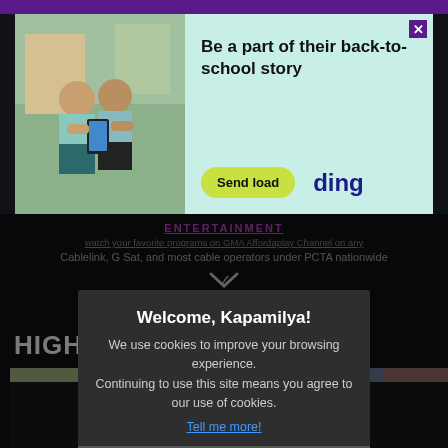[Figure (screenshot): Advertisement banner: photo of two children with phones on the left, light blue background on right with text 'Be a part of their back-to-school story', a yellow-green 'Send load' button, and 'ding' logo in dark blue.]
ENTERTAINMENT
Cablelink, G Sat, and most cable operators under PCTA nationwide
HIGHL
[Figure (screenshot): Video thumbnail of a person dancing, shown on left side.]
[Figure (screenshot): Video thumbnail of a woman holding a microphone with a play button overlay, shown on right side. Timestamp 06:52 visible.]
Welcome, Kapamilya!
We use cookies to improve your browsing experience.
Continuing to use this site means you agree to our use of cookies.
Tell me more!
I AGREE!